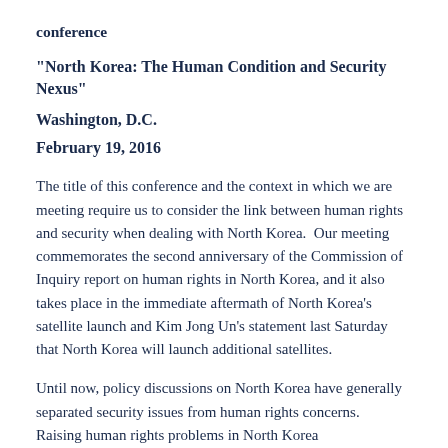conference
“North Korea: The Human Condition and Security Nexus”
Washington, D.C.
February 19, 2016
The title of this conference and the context in which we are meeting require us to consider the link between human rights and security when dealing with North Korea.  Our meeting commemorates the second anniversary of the Commission of Inquiry report on human rights in North Korea, and it also takes place in the immediate aftermath of North Korea’s satellite launch and Kim Jong Un’s statement last Saturday that North Korea will launch additional satellites.
Until now, policy discussions on North Korea have generally separated security issues from human rights concerns.  Raising human rights problems in North Korea